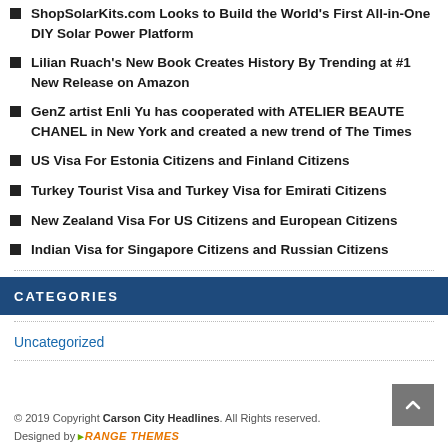ShopSolarKits.com Looks to Build the World's First All-in-One DIY Solar Power Platform
Lilian Ruach's New Book Creates History By Trending at #1 New Release on Amazon
GenZ artist Enli Yu has cooperated with ATELIER BEAUTE CHANEL in New York and created a new trend of The Times
US Visa For Estonia Citizens and Finland Citizens
Turkey Tourist Visa and Turkey Visa for Emirati Citizens
New Zealand Visa For US Citizens and European Citizens
Indian Visa for Singapore Citizens and Russian Citizens
CATEGORIES
Uncategorized
© 2019 Copyright Carson City Headlines. All Rights reserved. Designed by ORANGE THEMES